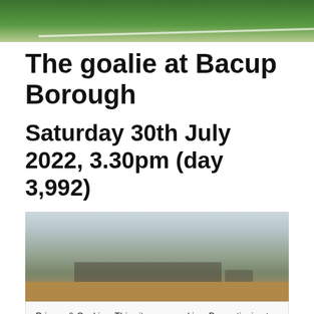[Figure (photo): Top portion of a football/soccer pitch photo showing green grass with white line markings]
The goalie at Bacup Borough
Saturday 30th July 2022, 3.30pm (day 3,992)
[Figure (photo): Landscape photo showing farm buildings on a hill with grey sky, rural countryside setting at Bacup Borough]
Privacy & Cookies: This site uses cookies. By continuing to use this website, you agree to their use.
To find out more, including how to control cookies, see here: Cookie Policy
[Figure (photo): Bottom portion of photo showing green football pitch with a figure in blue kit]